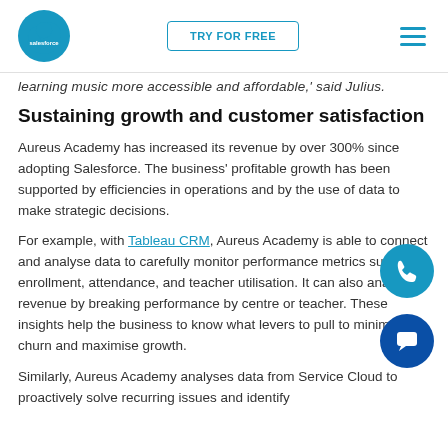salesforce | TRY FOR FREE | [menu]
learning music more accessible and affordable,' said Julius.
Sustaining growth and customer satisfaction
Aureus Academy has increased its revenue by over 300% since adopting Salesforce. The business' profitable growth has been supported by efficiencies in operations and by the use of data to make strategic decisions.
For example, with Tableau CRM, Aureus Academy is able to connect and analyse data to carefully monitor performance metrics such as enrollment, attendance, and teacher utilisation. It can also analyse  revenue by breaking performance by centre or teacher. These insights help the business to know what levers to pull to minimise churn and maximise growth.
Similarly, Aureus Academy analyses data from Service Cloud to proactively solve recurring issues and identify